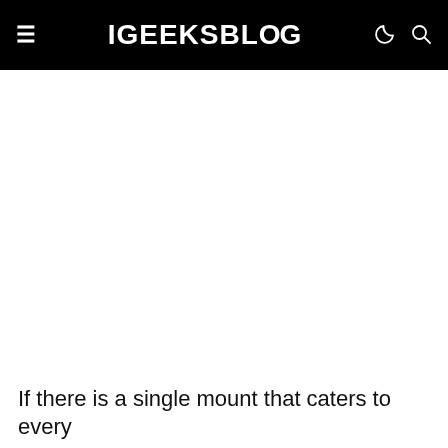iGEEKSBLOG
If there is a single mount that caters to every